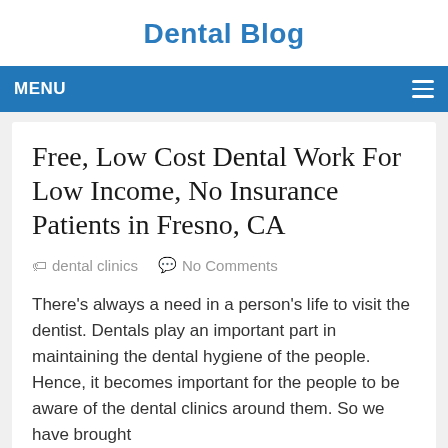Dental Blog
MENU
Free, Low Cost Dental Work For Low Income, No Insurance Patients in Fresno, CA
dental clinics   No Comments
There's always a need in a person's life to visit the dentist. Dentals play an important part in maintaining the dental hygiene of the people. Hence, it becomes important for the people to be aware of the dental clinics around them. So we have brought